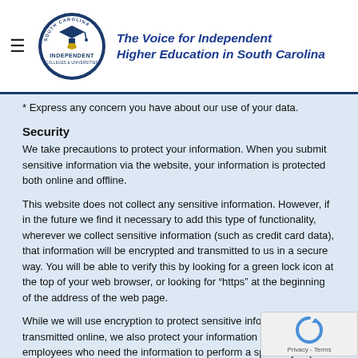South Carolina Independent Colleges & Universities — The Voice for Independent Higher Education in South Carolina
* Express any concern you have about our use of your data.
Security
We take precautions to protect your information. When you submit sensitive information via the website, your information is protected both online and offline.
This website does not collect any sensitive information. However, if in the future we find it necessary to add this type of functionality, wherever we collect sensitive information (such as credit card data), that information will be encrypted and transmitted to us in a secure way. You will be able to verify this by looking for a green lock icon at the top of your web browser, or looking for “https” at the beginning of the address of the web page.
While we will use encryption to protect sensitive information transmitted online, we also protect your information offline. Only employees who need the information to perform a specific job (for